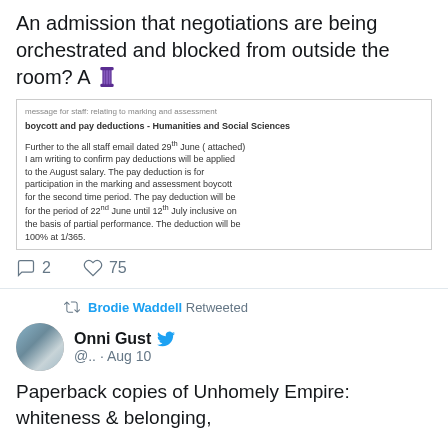An admission that negotiations are being orchestrated and blocked from outside the room? A 🧵
[Figure (screenshot): Screenshot of an email about marking and assessment boycott and pay deductions - Humanities and Social Sciences. Text reads: Further to the all staff email dated 29th June (attached) I am writing to confirm pay deductions will be applied to the August salary. The pay deduction is for participation in the marking and assessment boycott for the second time period. The pay deduction will be for the period of 22nd June until 12th July inclusive on the basis of partial performance. The deduction will be 100% at 1/365.]
2 replies, 75 likes
Brodie Waddell Retweeted
Onni Gust @.. · Aug 10
Paperback copies of Unhomely Empire: whiteness & belonging,